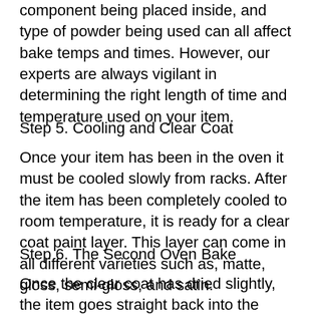component being placed inside, and type of powder being used can all affect bake temps and times. However, our experts are always vigilant in determining the right length of time and temperature used on your item.
Step 5. Cooling and Clear Coat
Once your item has been in the oven it must be cooled slowly from racks. After the item has been completely cooled to room temperature, it is ready for a clear coat paint layer. This layer can come in all different varieties such as, matte, gloss, semi-gloss, and satin.
Step 6. The Second Oven Bake
Once the clear coat has dried slightly, the item goes straight back into the oven for a final time. The only major difference this time, is that bake times are normally double that of the first oven bake. This ensures the clear coat layer has ample time to harden...